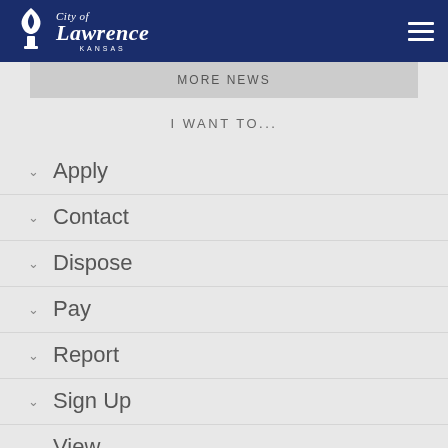[Figure (logo): City of Lawrence, Kansas logo with white torch/flame emblem on dark blue header background]
City of Lawrence KANSAS
MORE NEWS
I WANT TO...
Apply
Contact
Dispose
Pay
Report
Sign Up
View